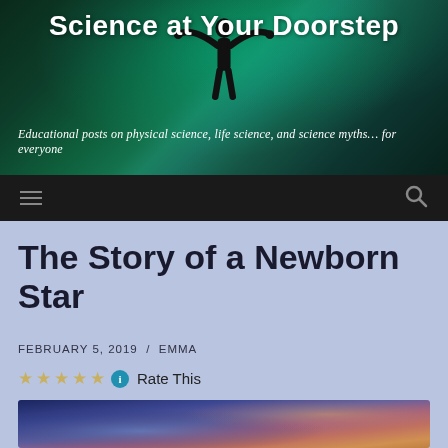Science at Your Doorstep
Educational posts on physical science, life science, and science myths... for everyone
The Story of a Newborn Star
FEBRUARY 5, 2019  /  EMMA
★★★★★ ℹ Rate This
[Figure (photo): A nebula or space image showing blue-purple and orange hues, likely a star-forming region]